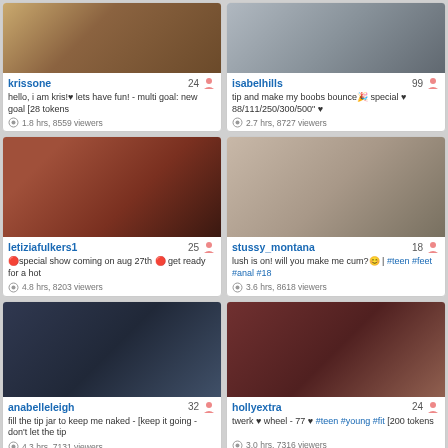[Figure (photo): Thumbnail of krissone]
krissone 24 | hello, i am kris!♥ lets have fun! - multi goal: new goal [28 tokens | 1.8 hrs, 8559 viewers
[Figure (photo): Thumbnail of isabelhills]
isabelhills 99 | tip and make my boobs bounce🎉 special ♥ 88/111/250/300/500" ♥ | 2.7 hrs, 8727 viewers
[Figure (photo): Thumbnail of letiziafulkers1]
letiziafulkers1 25 | 🔴special show coming on aug 27th 🔴 get ready for a hot | 4.8 hrs, 8203 viewers
[Figure (photo): Thumbnail of stussy_montana]
stussy_montana 18 | lush is on! will you make me cum?😊 | #teen #feet #anal #18 | 3.6 hrs, 8618 viewers
[Figure (photo): Thumbnail of anabelleleigh]
anabelleleigh 32 | fill the tip jar to keep me naked - [keep it going - don't let the tip | 4.3 hrs, 7131 viewers
[Figure (photo): Thumbnail of hollyextra]
hollyextra 24 | twerk ♥ wheel - 77 ♥ #teen #young #fit [200 tokens | 3.0 hrs, 7316 viewers